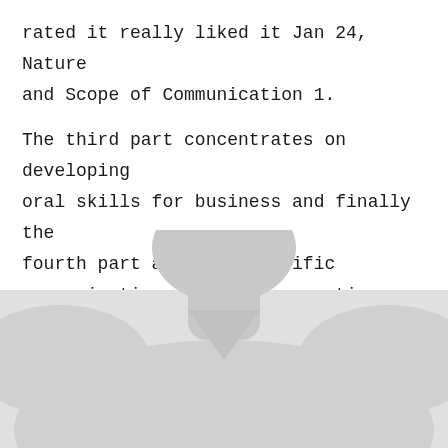rated it really liked it Jan 24, Nature and Scope of Communication 1.
The third part concentrates on developing oral skills for business and finally the fourth part analyses specific communication needs. Compensation Management Dipak Kumar Bhattacharyya.
[Figure (photo): Placeholder silhouette of a person (headless/anonymous avatar) showing shoulders and neck, light gray on white background.]